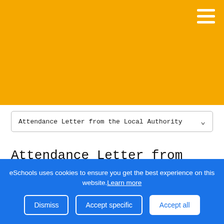[Figure (other): Yellow/amber header banner background with hamburger menu icon (three white horizontal lines) in the top-right corner.]
Attendance Letter from the Local Authority
Attendance Letter from the Local Authority
eSchools uses cookies to ensure you get the best experience on this website. Learn more
Dismiss | Accept specific | Accept all